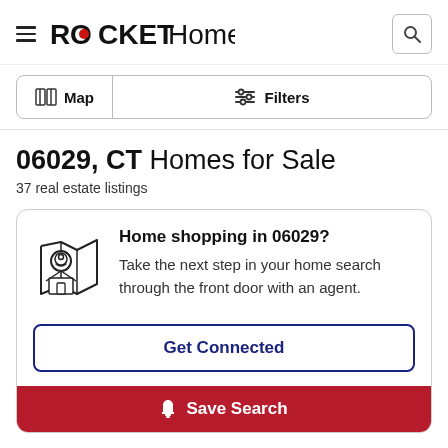ROCKET Homes
06029, CT Homes for Sale
37 real estate listings
Home shopping in 06029?
Take the next step in your home search through the front door with an agent.
Get Connected
Save Search